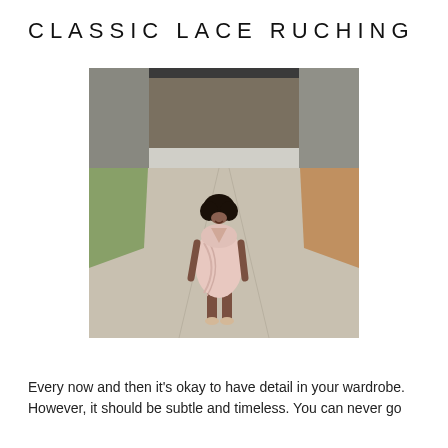CLASSIC LACE RUCHING
[Figure (photo): A woman wearing a light pink ruched wrap dress with lace detail, standing on a path under a bridge/overpass, wearing strappy heeled sandals. Green grass and trees visible on the sides.]
Every now and then it's okay to have detail in your wardrobe. However, it should be subtle and timeless. You can never go